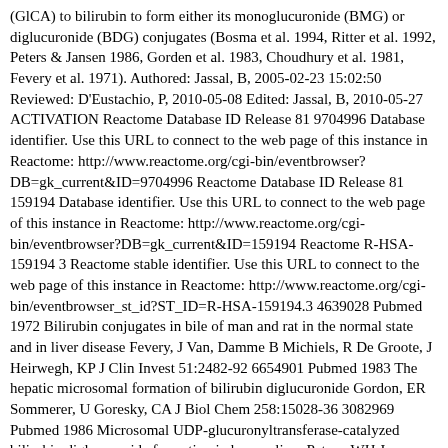(GlCA) to bilirubin to form either its monoglucuronide (BMG) or diglucuronide (BDG) conjugates (Bosma et al. 1994, Ritter et al. 1992, Peters & Jansen 1986, Gorden et al. 1983, Choudhury et al. 1981, Fevery et al. 1971). Authored: Jassal, B, 2005-02-23 15:02:50 Reviewed: D'Eustachio, P, 2010-05-08 Edited: Jassal, B, 2010-05-27 ACTIVATION Reactome Database ID Release 81 9704996 Database identifier. Use this URL to connect to the web page of this instance in Reactome: http://www.reactome.org/cgi-bin/eventbrowser?DB=gk_current&ID=9704996 Reactome Database ID Release 81 159194 Database identifier. Use this URL to connect to the web page of this instance in Reactome: http://www.reactome.org/cgi-bin/eventbrowser?DB=gk_current&ID=159194 Reactome R-HSA-159194 3 Reactome stable identifier. Use this URL to connect to the web page of this instance in Reactome: http://www.reactome.org/cgi-bin/eventbrowser_st_id?ST_ID=R-HSA-159194.3 4639028 Pubmed 1972 Bilirubin conjugates in bile of man and rat in the normal state and in liver disease Fevery, J Van, Damme B Michiels, R De Groote, J Heirwegh, KP J Clin Invest 51:2482-92 6654901 Pubmed 1983 The hepatic microsomal formation of bilirubin diglucuronide Gordon, ER Sommerer, U Goresky, CA J Biol Chem 258:15028-36 3082969 Pubmed 1986 Microsomal UDP-glucuronyltransferase-catalyzed bilirubin diglucuronide formation in human liver Peters, WH Jansen, PL J Hepatol 2:182-94 6796486 Pubmed 1981 Bilirubin mono- and diglucuronide formation by human liver in vitro: assay and relationship to several liver diseases...